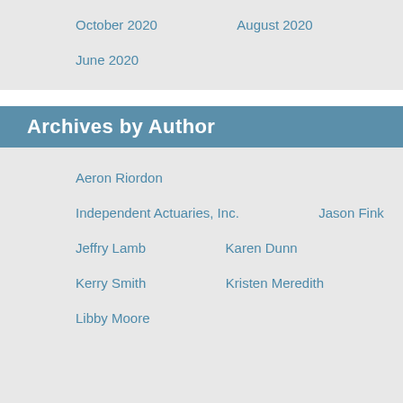October 2020
August 2020
June 2020
Archives by Author
Aeron Riordon
Independent Actuaries, Inc.
Jason Fink
Jeffry Lamb
Karen Dunn
Kerry Smith
Kristen Meredith
Libby Moore